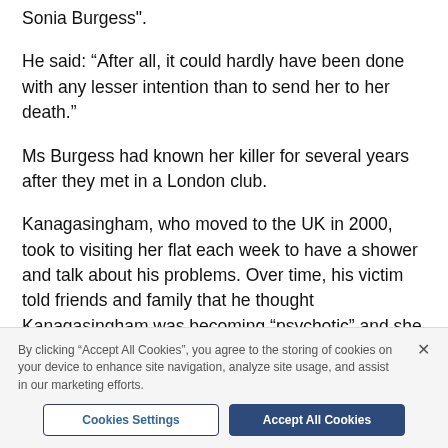…deliberate and executed with the intention of killing Sonia Burgess".
He said: “After all, it could hardly have been done with any lesser intention than to send her to her death.”
Ms Burgess had known her killer for several years after they met in a London club.
Kanagasingham, who moved to the UK in 2000, took to visiting her flat each week to have a shower and talk about his problems. Over time, his victim told friends and family that he thought Kanagasingham was becoming “psychotic” and she did not know how to make him leave her flat, said Mr Altman.
By clicking “Accept All Cookies”, you agree to the storing of cookies on your device to enhance site navigation, analyze site usage, and assist in our marketing efforts.
Cookies Settings
Accept All Cookies